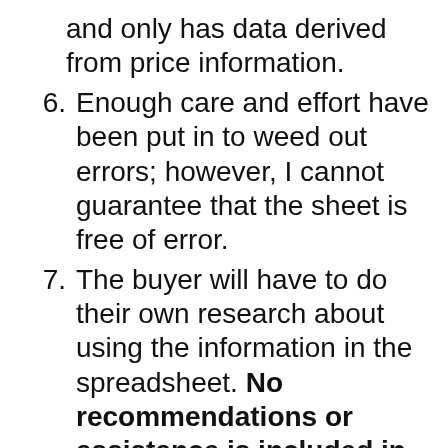and only has data derived from price information.
6. Enough care and effort have been put in to weed out errors; however, I cannot guarantee that the sheet is free of error.
7. The buyer will have to do their own research about using the information in the spreadsheet. No recommendations or assistance is included in the sheet and will not be provided separately.
8. I will not provide any further